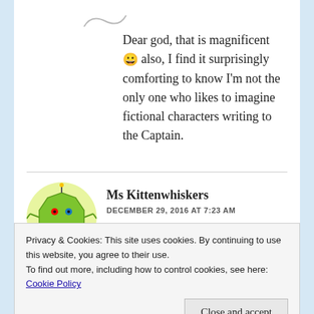[Figure (illustration): Partial wavy avatar image at top of page]
Dear god, that is magnificent 😀 also, I find it surprisingly comforting to know I'm not the only one who likes to imagine fictional characters writing to the Captain.
[Figure (illustration): Avatar of Ms Kittenwhiskers - a cartoon green octagon character with colorful eyes, antenna, arms and legs on a yellow-green circular background]
Ms Kittenwhiskers
DECEMBER 29, 2016 AT 7:23 AM
Half of my Christmas belonged in the Blues
Privacy & Cookies: This site uses cookies. By continuing to use this website, you agree to their use.
To find out more, including how to control cookies, see here: Cookie Policy
Close and accept
all. Maybe not magnificent, but also not abysmal